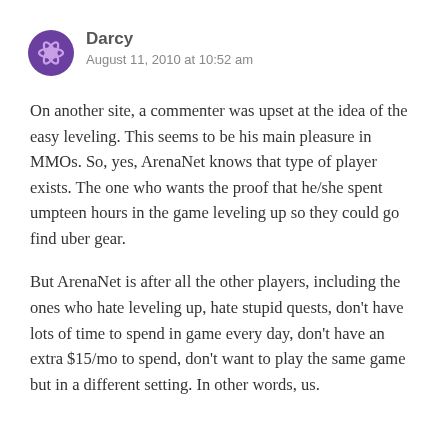[Figure (illustration): Purple circular avatar icon for user Darcy]
Darcy
August 11, 2010 at 10:52 am
On another site, a commenter was upset at the idea of the easy leveling. This seems to be his main pleasure in MMOs. So, yes, ArenaNet knows that type of player exists. The one who wants the proof that he/she spent umpteen hours in the game leveling up so they could go find uber gear.
But ArenaNet is after all the other players, including the ones who hate leveling up, hate stupid quests, don't have lots of time to spend in game every day, don't have an extra $15/mo to spend, don't want to play the same game but in a different setting. In other words, us.